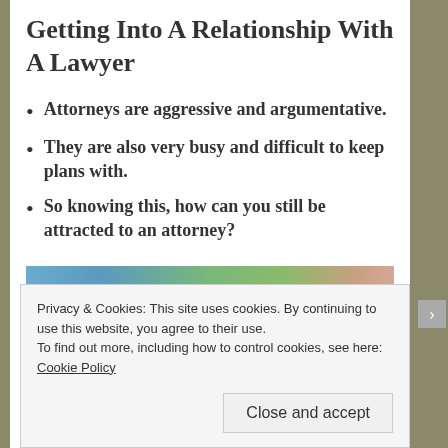Getting Into A Relationship With A Lawyer
Attorneys are aggressive and argumentative.
They are also very busy and difficult to keep plans with.
So knowing this, how can you still be attracted to an attorney?
[Figure (photo): Outdoor photo showing blue sky and green foliage with a partial view of a person on the right side]
Privacy & Cookies: This site uses cookies. By continuing to use this website, you agree to their use.
To find out more, including how to control cookies, see here: Cookie Policy
Close and accept